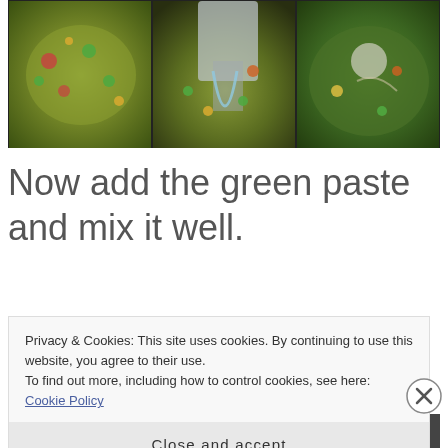[Figure (photo): Three side-by-side food photos showing rice/biryani dish being cooked in a pan: left shows spiced rice with vegetables, middle shows water being poured onto rice mixture, right shows green curry/sauce being stirred in a dark pan]
Now add the green paste and mix it well.
1.  Add the soaked saffron with
Privacy & Cookies: This site uses cookies. By continuing to use this website, you agree to their use.
To find out more, including how to control cookies, see here: Cookie Policy
Close and accept